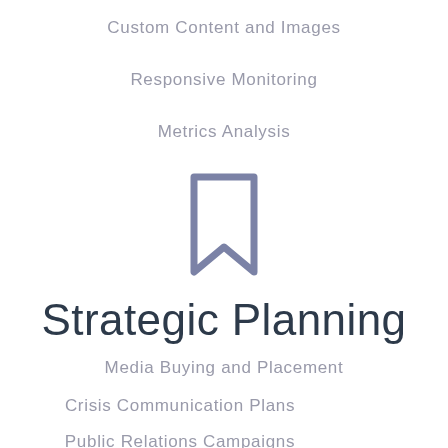Custom Content and Images
Responsive Monitoring
Metrics Analysis
[Figure (illustration): Bookmark icon in grey-blue outline style]
Strategic Planning
Media Buying and Placement
Crisis Communication Plans
Public Relations Campaigns